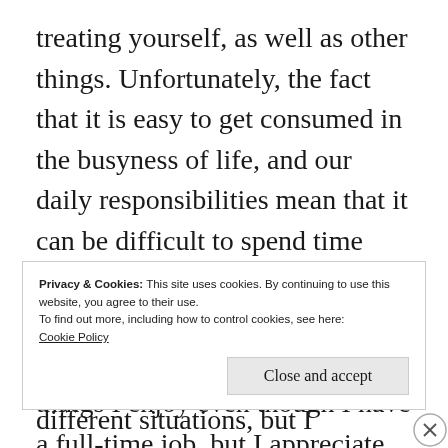treating yourself, as well as other things. Unfortunately, the fact that it is easy to get consumed in the busyness of life, and our daily responsibilities mean that it can be difficult to spend time doing the things we love. I have recently been able to spend a good amount of time doing the things I enjoy even though I have a full-time job, but I appreciate that it is not always easy to. Therefore, I want to use this blog post to talk about 4 things
Privacy & Cookies: This site uses cookies. By continuing to use this website, you agree to their use.
To find out more, including how to control cookies, see here: Cookie Policy
different situations, but I hope they can help